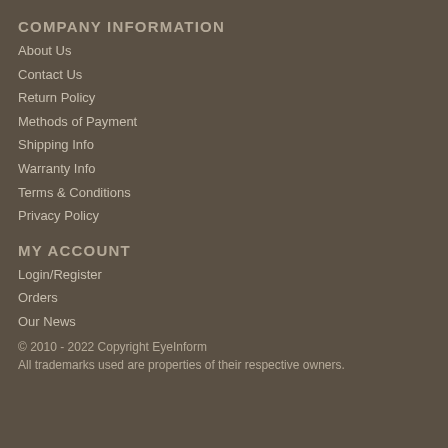COMPANY INFORMATION
About Us
Contact Us
Return Policy
Methods of Payment
Shipping Info
Warranty Info
Terms & Conditions
Privacy Policy
MY ACCOUNT
Login/Register
Orders
Our News
© 2010 - 2022 Copyright EyeInform
All trademarks used are properties of their respective owners.